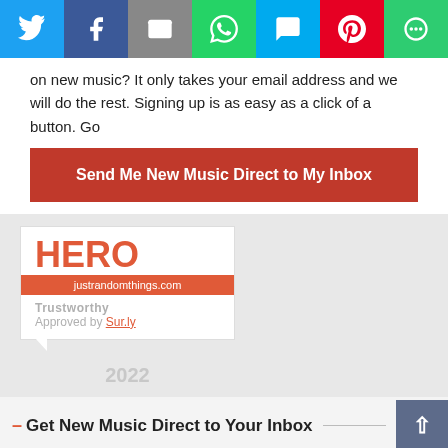[Figure (infographic): Social share bar with Twitter, Facebook, Email, WhatsApp, SMS, Pinterest, and More buttons]
on new music? It only takes your email address and we will do the rest. Signing up is as easy as a click of a button. Go
Send Me New Music Direct to My Inbox
[Figure (infographic): HERO badge from justrandomthings.com, Trustworthy Approved by Sur.ly, 2022]
– Get New Music Direct to Your Inbox
Join our music community